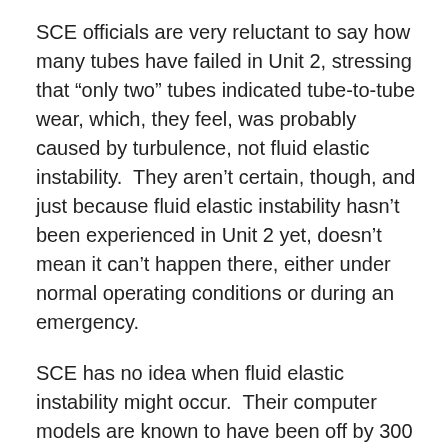SCE officials are very reluctant to say how many tubes have failed in Unit 2, stressing that “only two” tubes indicated tube-to-tube wear, which, they feel, was probably caused by turbulence, not fluid elastic instability. They aren’t certain, though, and just because fluid elastic instability hasn’t been experienced in Unit 2 yet, doesn’t mean it can’t happen there, either under normal operating conditions or during an emergency.
SCE has no idea when fluid elastic instability might occur. Their computer models are known to have been off by 300 to 400 percent. Flow rates are known to be way too high, and there is way too much steam and not nearly enough water at the top of the tubes (a mixture with more water would have been much better at dampening vibration).